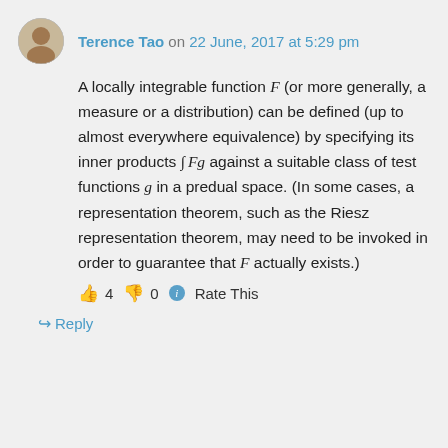Terence Tao on 22 June, 2017 at 5:29 pm
A locally integrable function F (or more generally, a measure or a distribution) can be defined (up to almost everywhere equivalence) by specifying its inner products ∫ Fg against a suitable class of test functions g in a predual space. (In some cases, a representation theorem, such as the Riesz representation theorem, may need to be invoked in order to guarantee that F actually exists.)
👍 4 👎 0 ℹ Rate This
↪ Reply